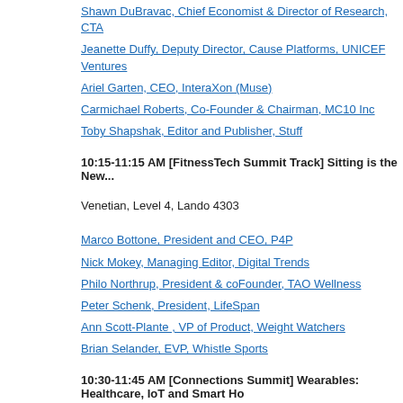Shawn DuBravac, Chief Economist & Director of Research, CTA
Jeanette Duffy, Deputy Director, Cause Platforms, UNICEF Ventures
Ariel Garten, CEO, InteraXon (Muse)
Carmichael Roberts, Co-Founder & Chairman, MC10 Inc
Toby Shapshak, Editor and Publisher, Stuff
10:15-11:15 AM [FitnessTech Summit Track] Sitting is the New...
Venetian, Level 4, Lando 4303
Marco Bottone, President and CEO, P4P
Nick Mokey, Managing Editor, Digital Trends
Philo Northrup, President & coFounder, TAO Wellness
Peter Schenk, President, LifeSpan
Ann Scott-Plante , VP of Product, Weight Watchers
Brian Selander, EVP, Whistle Sports
10:30-11:45 AM [Connections Summit] Wearables: Healthcare, IoT and Smart Ho
Venetian, Level 4, Marcello 4501